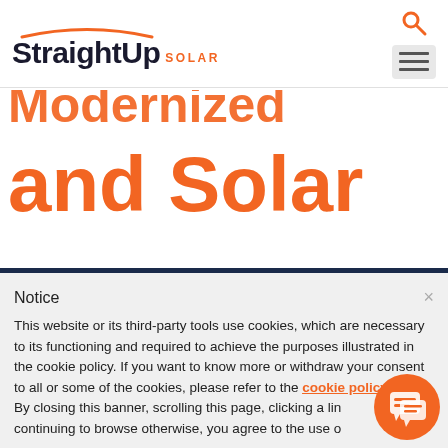[Figure (logo): StraightUp Solar logo with orange arc above black text 'StraightUp' and orange text 'SOLAR']
and Solar
Notice
This website or its third-party tools use cookies, which are necessary to its functioning and required to achieve the purposes illustrated in the cookie policy. If you want to know more or withdraw your consent to all or some of the cookies, please refer to the cookie policy. By closing this banner, scrolling this page, clicking a link or continuing to browse otherwise, you agree to the use o